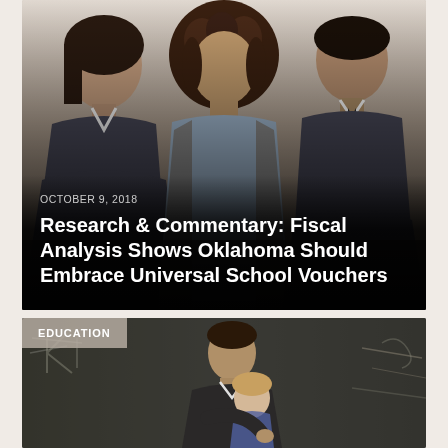[Figure (photo): Teacher helping two students (a girl on the left and a boy on the right) who are looking down at work, with the teacher in the center leaning in.]
OCTOBER 9, 2018
Research & Commentary: Fiscal Analysis Shows Oklahoma Should Embrace Universal School Vouchers
[Figure (photo): Teacher leaning over to help a young student at a chalkboard in a dark classroom setting, with chalk writing visible in the background.]
EDUCATION